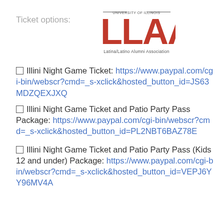Ticket options:
[Figure (logo): LLAA - Latina/Latino Alumni Association logo from University of Illinois, with red block letters LLAA and text above and below]
□ Illini Night Game Ticket: https://www.paypal.com/cgi-bin/webscr?cmd=_s-xclick&hosted_button_id=JS63MDZQEXJXQ
□ Illini Night Game Ticket and Patio Party Pass Package: https://www.paypal.com/cgi-bin/webscr?cmd=_s-xclick&hosted_button_id=PL2NBT6BAZ78E
□ Illini Night Game Ticket and Patio Party Pass (Kids 12 and under) Package: https://www.paypal.com/cgi-bin/webscr?cmd=_s-xclick&hosted_button_id=VEPJ6YY96MV4A